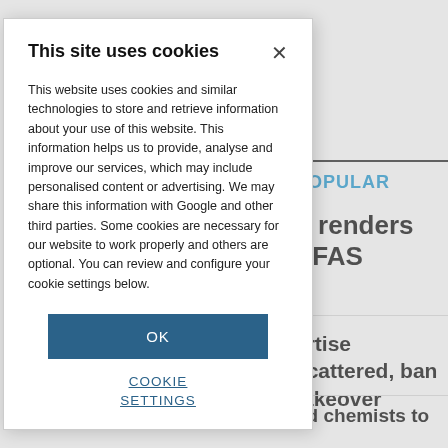[Figure (screenshot): Cookie consent modal dialog overlaid on a partially visible news/article website. Background shows 'POPULAR' section header in blue, large bold text 'n renders PFAS', and partial article snippet 'ertise scattered, ban takeover' and 'nd chemists to'. The modal reads: 'This site uses cookies' with an X close button, body text explaining cookie usage, an OK button, and a COOKIE SETTINGS link.]